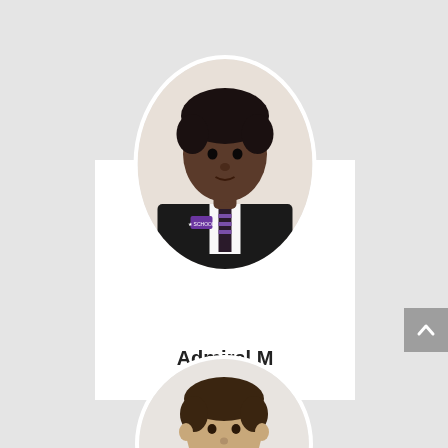[Figure (photo): School student profile card. Oval portrait photo of a young student in school uniform (black blazer, striped tie, school badge) above a white card. Name 'Admiral M' displayed below the photo.]
Admiral M
[Figure (photo): Partial oval portrait photo of a second student in school uniform, visible at the bottom of the page.]